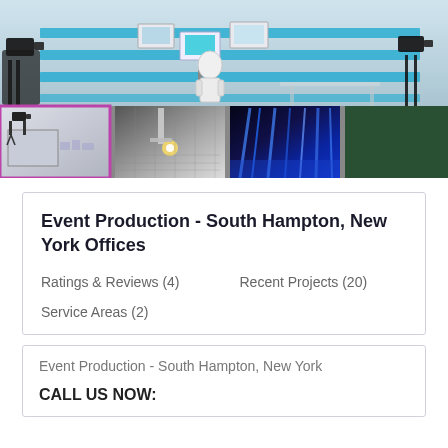[Figure (photo): Composite banner image showing a TV/broadcast studio with cameras, monitors, blue striped backdrop, and a bottom row of smaller photos showing a studio, a laser/CNC machine, concert stage lighting, and a partial green-toned image.]
Event Production - South Hampton, New York Offices
Ratings & Reviews (4)     Recent Projects (20)
Service Areas (2)
Event Production - South Hampton, New York
CALL US NOW: